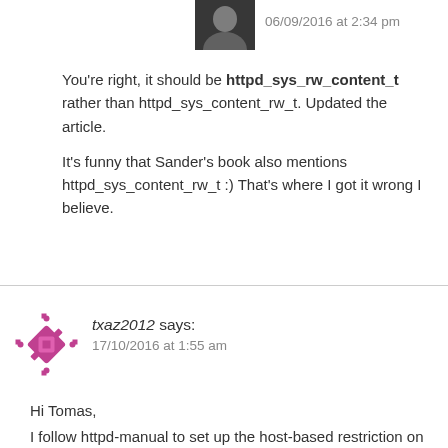[Figure (photo): User avatar photo – dark/grayscale portrait thumbnail]
06/09/2016 at 2:34 pm
You're right, it should be httpd_sys_rw_content_t rather than httpd_sys_content_rw_t. Updated the article.

It's funny that Sander's book also mentions httpd_sys_content_rw_t :) That's where I got it wrong I believe.
[Figure (logo): txaz2012 user avatar – pink/magenta decorative icon]
txaz2012 says:
17/10/2016 at 1:55 am
Hi Tomas,
I follow httpd-manual to set up the host-based restriction on server1 to only allow access the “private” directory from server2.

AllowOverride None
Options None